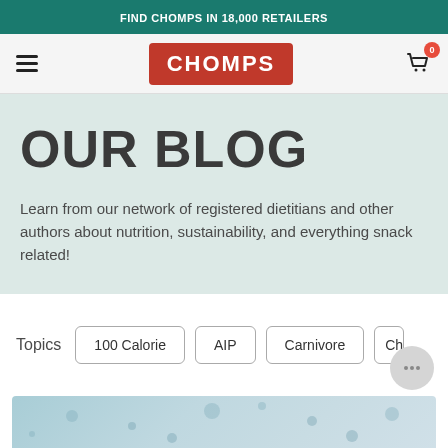FIND CHOMPS IN 18,000 RETAILERS
[Figure (logo): Chomps brand logo — red rectangle with white bold text CHOMPS]
OUR BLOG
Learn from our network of registered dietitians and other authors about nutrition, sustainability, and everything snack related!
Topics  100 Calorie  AIP  Carnivore  Ch...
[Figure (photo): Partial photo of snack-related product with light blue/teal background, partially visible at the bottom of the page]